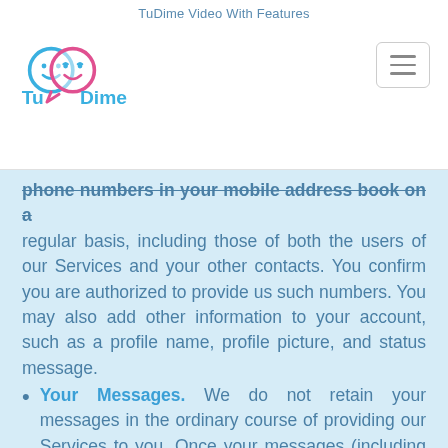TuDime Video With Features
[Figure (logo): TuDime logo with two cartoon face icons and brand name in blue and pink]
phone numbers in your mobile address book on a regular basis, including those of both the users of our Services and your other contacts. You confirm you are authorized to provide us such numbers. You may also add other information to your account, such as a profile name, profile picture, and status message.
Your Messages. We do not retain your messages in the ordinary course of providing our Services to you. Once your messages (including your chats, photos, videos, voice messages, files, and share location information) are delivered, they are deleted from our servers. Your messages are stored on your own device. If a message cannot